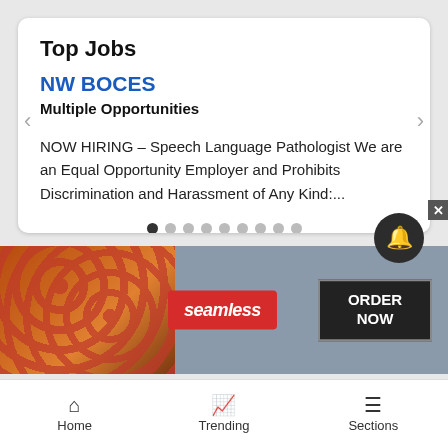Top Jobs
NW BOCES
Multiple Opportunities
NOW HIRING – Speech Language Pathologist We are an Equal Opportunity Employer and Prohibits Discrimination and Harassment of Any Kind:...
VIEW MORE LISTINGS ❯
[Figure (screenshot): Seamless food delivery advertisement banner showing pizza image on left, red Seamless logo badge in center, and ORDER NOW button on right]
Home
Trending
Sections